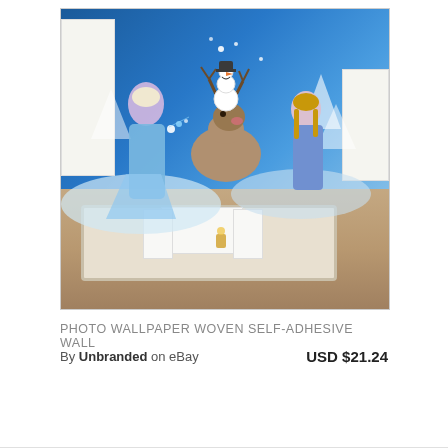[Figure (photo): A Frozen-themed photo wallpaper mural showing Disney characters Elsa, Olaf, Sven and Anna in a winter scene, displayed in a children's room with white furniture, small table and chairs, and a white rug on a wood floor.]
PHOTO WALLPAPER WOVEN SELF-ADHESIVE WALL
By Unbranded  on eBay
USD $21.24